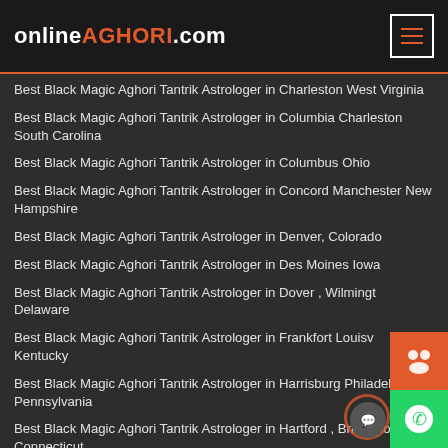onlineAGHORI.com
Best Black Magic Aghori Tantrik Astrologer in Charleston West Virginia
Best Black Magic Aghori Tantrik Astrologer in Columbia Charleston South Carolina
Best Black Magic Aghori Tantrik Astrologer in Columbus Ohio
Best Black Magic Aghori Tantrik Astrologer in Concord Manchester New Hampshire
Best Black Magic Aghori Tantrik Astrologer in Denver, Colorado
Best Black Magic Aghori Tantrik Astrologer in Des Moines Iowa
Best Black Magic Aghori Tantrik Astrologer in Dover , Wilmington Delaware
Best Black Magic Aghori Tantrik Astrologer in Frankfort Louisville Kentucky
Best Black Magic Aghori Tantrik Astrologer in Harrisburg Philadelphia Pennsylvania
Best Black Magic Aghori Tantrik Astrologer in Hartford , Bridgeport, Connecticut